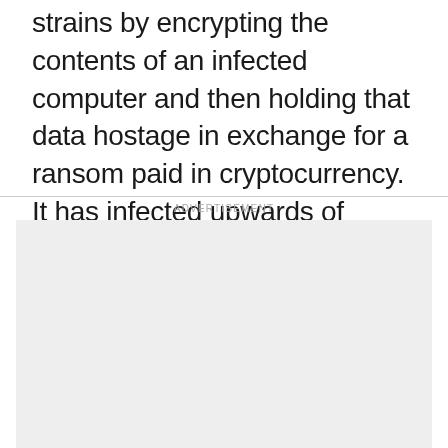strains by encrypting the contents of an infected computer and then holding that data hostage in exchange for a ransom paid in cryptocurrency. It has infected upwards of 500,000 victims worldwide since the start of 2018, in turn causing losses exceeding $300 million, the FBI said in the bulletin.
ADVERTISEMENT
[Figure (other): Advertisement placeholder box (empty grey rectangle)]